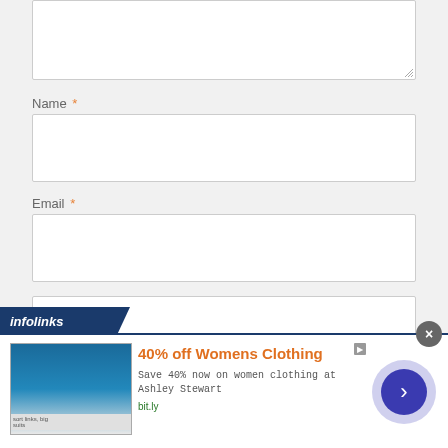[Figure (screenshot): Web comment form with textarea (partially visible at top), Name field with red asterisk, Email field with red asterisk, URL field, and Post Comment button. Below is an infolinks advertisement banner for 40% off Womens Clothing at Ashley Stewart with bit.ly link.]
Name *
Email *
Post Comment
infolinks
40% off Womens Clothing
Save 40% now on women clothing at Ashley Stewart
bit.ly